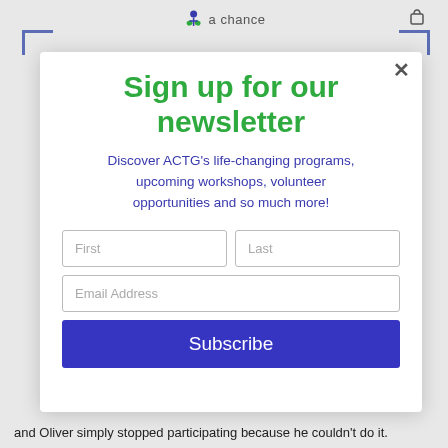[Figure (logo): ACTG 'a chance' logo with icon of people figure at top center]
Sign up for our newsletter
Discover ACTG's life-changing programs, upcoming workshops, volunteer opportunities and so much more!
First | Last (form fields)
Email Address (form field)
Subscribe (button)
and Oliver simply stopped participating because he couldn't do it.